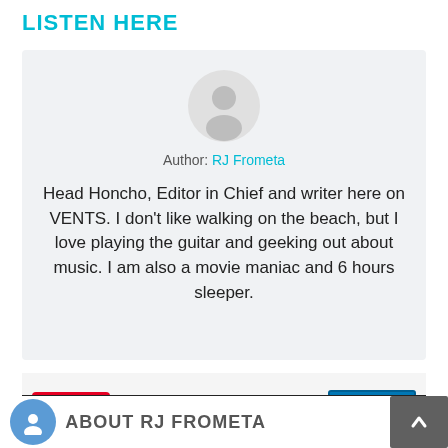LISTEN HERE
[Figure (illustration): Author profile card with avatar circle icon, author name 'RJ Frometa', and bio text on light gray background]
Author: RJ Frometa
Head Honcho, Editor in Chief and writer here on VENTS. I don't like walking on the beach, but I love playing the guitar and geeking out about music. I am also a movie maniac and 6 hours sleeper.
[Figure (screenshot): Social sharing buttons bar with Pinterest Save button (red) on left and LinkedIn Share button (blue) on right]
ABOUT RJ FROMETA